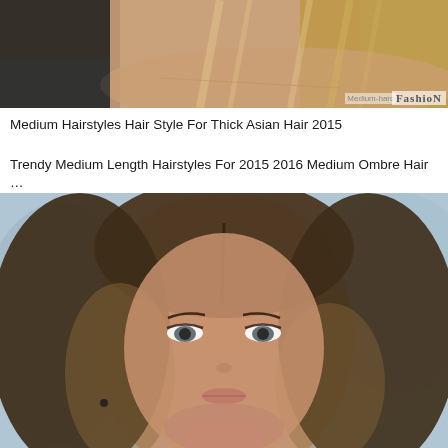[Figure (photo): Close-up photo of a woman with blonde medium-length hair, bare shoulders, facing slightly to the side. Watermark text 'Medium-harc' and 'FashioN' badge visible in bottom right corner.]
Medium Hairstyles Hair Style For Thick Asian Hair 2015
Trendy Medium Length Hairstyles For 2015 2016 Medium Ombre Hair …
[Figure (photo): Close-up portrait photo of a young woman with medium-length brunette/ombre wavy hair, parted in the middle, with highlights, wearing subtle makeup and looking directly at the camera.]